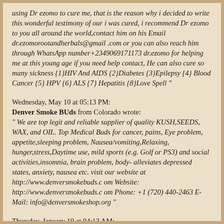using Dr ezomo to cure me, that is the reason why i decided to write this wonderful testimony of our i was cured, i recommend Dr ezomo to you all around the world,contact him on his Email dr.ezomorootandherbals@gmail .com or you can also reach him through WhatsApp number+2349069171173 dr.ezomo for helping me at this young age if you need help contact, He can also cure so many sickness {1}HIV And AIDS {2}Diabetes {3}Epilepsy {4} Blood Cancer {5} HPV {6} ALS {7} Hepatitis {8}Love Spell "
Wednesday, May 10 at 05:13 PM: Denver Smoke BUds from Colorado wrote: " We are top legit and reliable supplier of quality KUSH,SEEDS, WAX, and OIL. Top Medical Buds for cancer, pains, Eye problem, appetite,sleeping problem, Nausea/vomiting,Relaxing, hunger,stress,Daytime use, mild sports (e.g. Golf or PS3) and social activities,insomnia, brain problem, body- alleviates depressed states, anxiety, nausea etc. visit our website at http://www.denversmokebuds.c om Website: http://www.denversmokebuds.c om Phone: +1 (720) 440-2463 E-Mail: info@denversmokeshop.org "
Thursday, January 19 at 04:13 AM: Cannabis Oil from N/A wrote: "Many Patients suffering from chronic or neuropathic pain & many other medical conditions gain relief from prescription